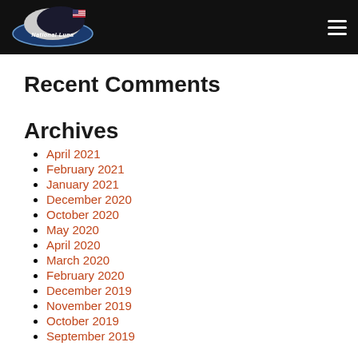National Luna
Recent Comments
Archives
April 2021
February 2021
January 2021
December 2020
October 2020
May 2020
April 2020
March 2020
February 2020
December 2019
November 2019
October 2019
September 2019